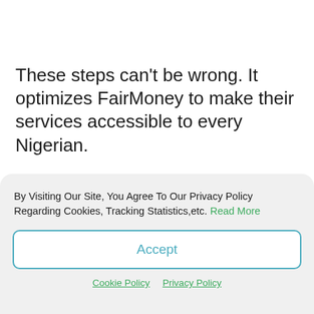These steps can't be wrong. It optimizes FairMoney to make their services accessible to every Nigerian.
By Visiting Our Site, You Agree To Our Privacy Policy Regarding Cookies, Tracking Statistics,etc. Read More
Accept
Cookie Policy  Privacy Policy